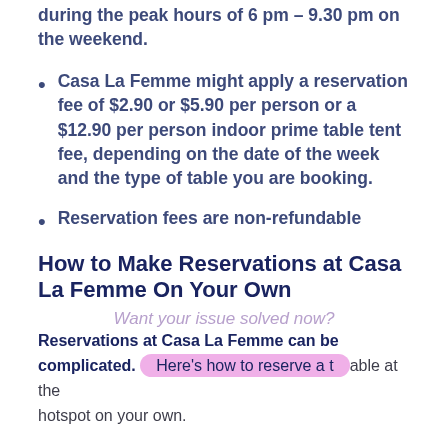during the peak hours of 6 pm – 9.30 pm on the weekend.
Casa La Femme might apply a reservation fee of $2.90 or $5.90 per person or a $12.90 per person indoor prime table tent fee, depending on the date of the week and the type of table you are booking.
Reservation fees are non-refundable
How to Make Reservations at Casa La Femme On Your Own
Want your issue solved now?
Reservations at Casa La Femme can be complicated. Here's how to reserve a table at the hotspot on your own.